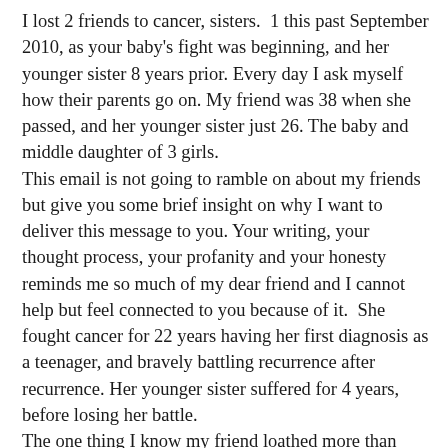I lost 2 friends to cancer, sisters.  1 this past September 2010, as your baby's fight was beginning, and her younger sister 8 years prior. Every day I ask myself how their parents go on. My friend was 38 when she passed, and her younger sister just 26. The baby and middle daughter of 3 girls.
This email is not going to ramble on about my friends but give you some brief insight on why I want to deliver this message to you. Your writing, your thought process, your profanity and your honesty reminds me so much of my dear friend and I cannot help but feel connected to you because of it.  She fought cancer for 22 years having her first diagnosis as a teenager, and bravely battling recurrence after recurrence. Her younger sister suffered for 4 years, before losing her battle.
The one thing I know my friend loathed more than anything was having others bring up comparisons of their 60 year old aunt bessie's cancer battle, or their